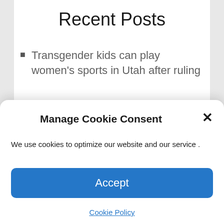Recent Posts
Transgender kids can play women's sports in Utah after ruling
SALT LAKE CITY, AP — Transgender girls in Utah will
Officers recall battling a thunderous crowd at the trial
Manage Cookie Consent
We use cookies to optimize our website and our service .
Accept
Cookie Policy